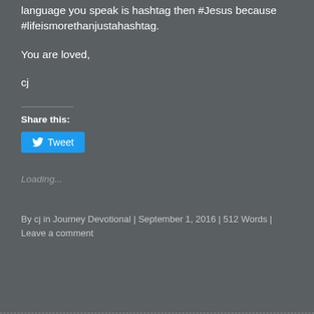language you speak is hashtag then #Jesus because #lifeismorethanjustahashtag.
You are loved,
cj
Share this:
[Figure (other): Tweet button with Twitter bird icon]
Loading...
By cj in Journey Devotional | September 1, 2016 | 512 Words | Leave a comment